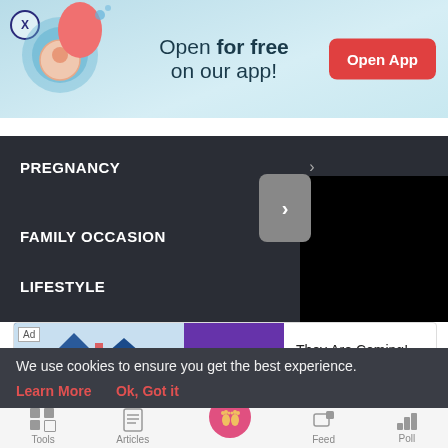[Figure (screenshot): App promotional banner with illustration of pregnant woman, text 'Open for free on our app!' and red 'Open App' button]
PREGNANCY >
FAMILY OCCASIONS >
LIFESTYLE
[Figure (screenshot): Black video panel area]
[Figure (screenshot): Ad strip: 'They Are Coming!' with Follic app branding and Download link]
[Figure (screenshot): Bottom navigation bar with Tools, Articles, home (pink footprints), Feed, Poll icons]
We use cookies to ensure you get the best experience.
Learn More   Ok, Got it